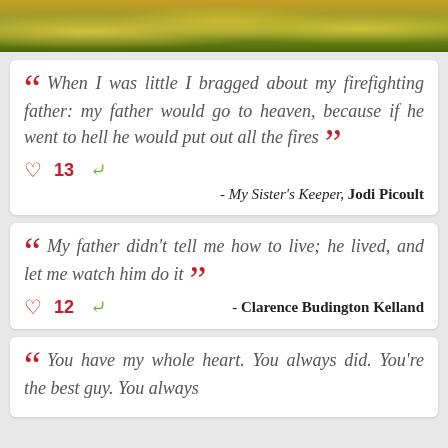[Figure (photo): Partial photo strip at top showing blurred green and yellow foliage/flowers]
When I was little I bragged about my firefighting father: my father would go to heaven, because if he went to hell he would put out all the fires
13 likes, share
- My Sister's Keeper, Jodi Picoult
My father didn't tell me how to live; he lived, and let me watch him do it
12 likes, share - Clarence Budington Kelland
You have my whole heart. You always did. You're the best guy. You always